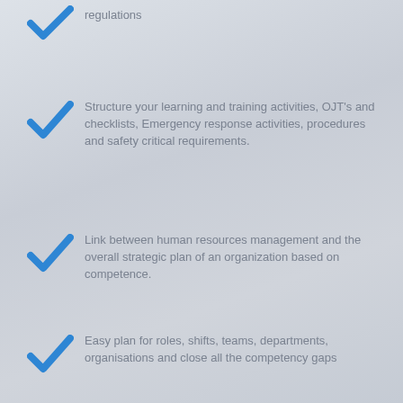regulations
Structure your learning and training activities, OJT's and checklists, Emergency response activities, procedures and safety critical requirements.
Link between human resources management and the overall strategic plan of an organization based on competence.
Easy plan for roles, shifts, teams, departments, organisations and close all the competency gaps